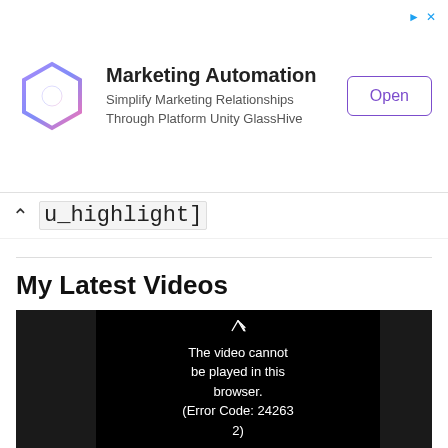[Figure (screenshot): Advertisement banner for GlassHive Marketing Automation app with hexagonal logo, title, subtitle, and Open button]
u_highlight]
My Latest Videos
[Figure (screenshot): Video player showing error message: The video cannot be played in this browser. (Error Code: 242632)]